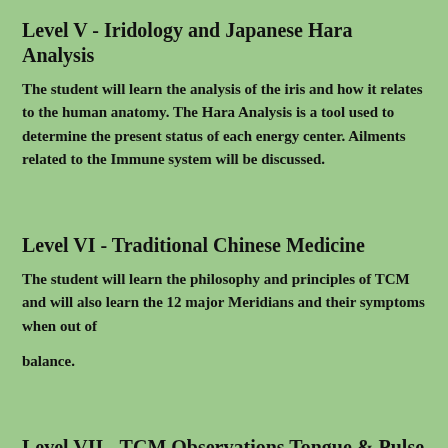Level V - Iridology and Japanese Hara Analysis
The student will learn the analysis of the iris and how it relates to the human anatomy. The Hara Analysis is a tool used to determine the present status of each energy center. Ailments related to the Immune system will be discussed.
Level VI - Traditional Chinese Medicine
The student will learn the philosophy and principles of TCM and will also learn the 12 major Meridians and their symptoms when out of balance.
Level VII - TCM Observations Tongue & Pulse Analysis
The student will learn how to interpret the appearance of the tongue in relation to various organs and how to feel for the pulse to determine the